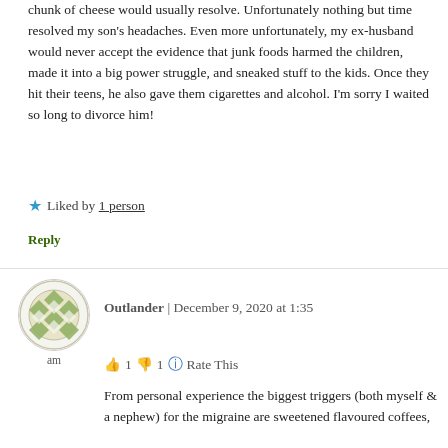chunk of cheese would usually resolve. Unfortunately nothing but time resolved my son's headaches. Even more unfortunately, my ex-husband would never accept the evidence that junk foods harmed the children, made it into a big power struggle, and sneaked stuff to the kids. Once they hit their teens, he also gave them cigarettes and alcohol. I'm sorry I waited so long to divorce him!
★ Liked by 1 person
Reply
[Figure (illustration): Circular avatar with diamond/lattice pattern in olive green and white, with label 'am' below]
Outlander | December 9, 2020 at 1:35 am
👍 1 👎 1 ℹ Rate This
From personal experience the biggest triggers (both myself & a nephew) for the migraine are sweetened flavoured coffees,